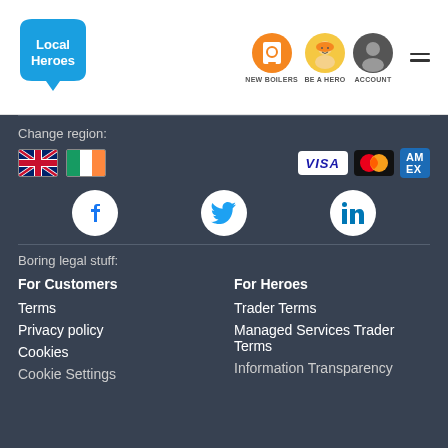[Figure (logo): Local Heroes logo - blue teardrop/speech bubble shape with white text]
[Figure (infographic): Navigation icons: NEW BOILERS (boiler icon), BE A HERO (hero icon), ACCOUNT (person icon), and hamburger menu]
Change region:
[Figure (infographic): UK flag, Ireland flag, VISA card logo, Mastercard logo, American Express logo]
[Figure (infographic): Social media icons: Facebook, Twitter, LinkedIn]
Boring legal stuff:
For Customers
For Heroes
Terms
Trader Terms
Privacy policy
Managed Services Trader Terms
Cookies
Information Transparency
Cookie Settings